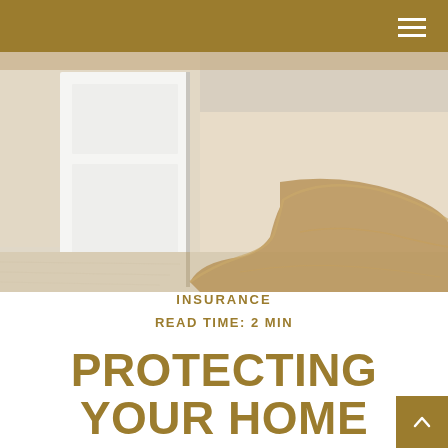[Figure (photo): Interior room floor with beige/tan carpet and a white door, with brown flood water pooling and spreading across the floor from the right side.]
INSURANCE
READ TIME: 2 MIN
PROTECTING YOUR HOME AGAINST FLOOD LOSS